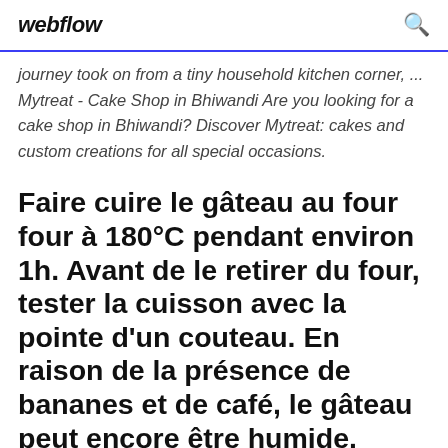webflow
journey took on from a tiny household kitchen corner, ... Mytreat - Cake Shop in Bhiwandi Are you looking for a cake shop in Bhiwandi? Discover Mytreat: cakes and custom creations for all special occasions.
Faire cuire le gâteau au four four à 180°C pendant environ 1h. Avant de le retirer du four, tester la cuisson avec la pointe d'un couteau. En raison de la présence de bananes et de café, le gâteau peut encore être humide. Enfin, laisser refroidir et